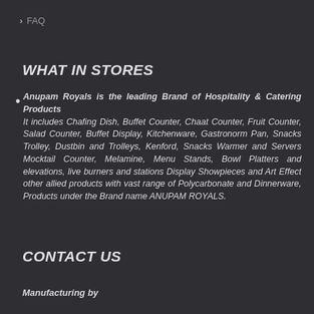> FAQ
WHAT IN STORES
Anupam Royals is the leading Brand of Hospitality & Catering Products
It includes Chafing Dish, Buffet Counter, Chaat Counter, Fruit Counter, Salad Counter, Buffet Display, Kitchenware, Gastronorm Pan, Snacks Trolley, Dustbin and Trolleys, Kenford, Snacks Warmer and Servers Mocktail Counter, Melamine, Menu Stands, Bowl Platters and elevations, live burners and stations Display Showpieces and Art Effect other allied products with vast range of Polycarbonate and Dinnerware, Products under the Brand name ANUPAM ROYALS.
CONTACT US
Manufacturing by